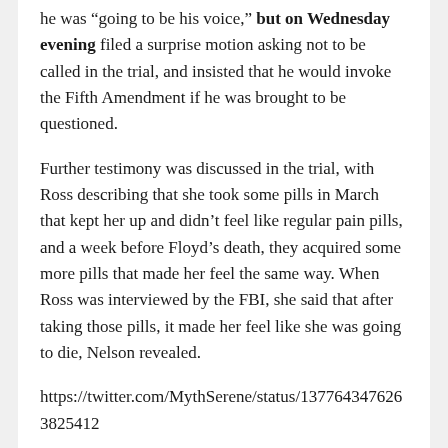he was “going to be his voice,” but on Wednesday evening filed a surprise motion asking not to be called in the trial, and insisted that he would invoke the Fifth Amendment if he was brought to be questioned.
Further testimony was discussed in the trial, with Ross describing that she took some pills in March that kept her up and didn’t feel like regular pain pills, and a week before Floyd’s death, they acquired some more pills that made her feel the same way. When Ross was interviewed by the FBI, she said that after taking those pills, it made her feel like she was going to die, Nelson revealed.
https://twitter.com/MythSerene/status/1377643476263825412